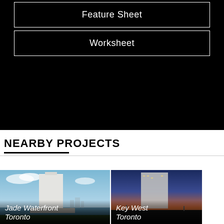Feature Sheet
Worksheet
NEARBY PROJECTS
[Figure (photo): Rendering of Jade Waterfront Toronto condo tower against blue sky with city skyline in background]
Jade Waterfront
Toronto
[Figure (photo): Rendering of Key West Toronto condo tower against dusk sky]
Key West
Toronto